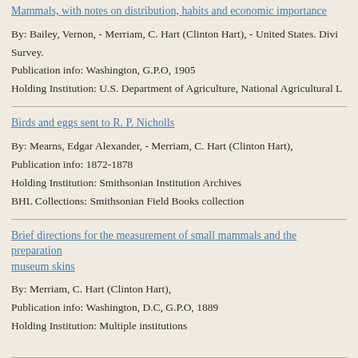Mammals, with notes on distribution, habits and economic importance
By: Bailey, Vernon, - Merriam, C. Hart (Clinton Hart), - United States. Divi Survey.
Publication info: Washington, G.P.O, 1905
Holding Institution: U.S. Department of Agriculture, National Agricultural L
Birds and eggs sent to R. P. Nicholls
By: Mearns, Edgar Alexander, - Merriam, C. Hart (Clinton Hart),
Publication info: 1872-1878
Holding Institution: Smithsonian Institution Archives
BHL Collections: Smithsonian Field Books collection
Brief directions for the measurement of small mammals and the preparation museum skins
By: Merriam, C. Hart (Clinton Hart),
Publication info: Washington, D.C, G.P.O, 1889
Holding Institution: Multiple institutions